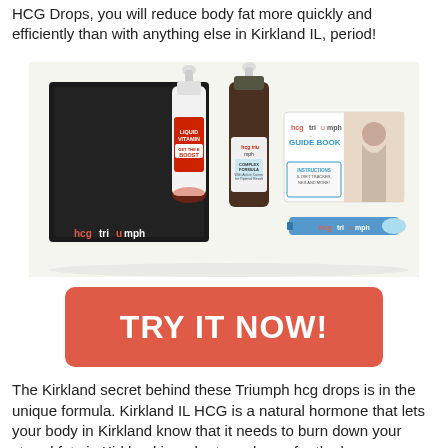HCG Drops, you will reduce body fat more quickly and efficiently than with anything else in Kirkland IL, period!
[Figure (photo): HCG Triumph product kit showing a black box, liquid vitamin bottle with red label saying 'GET THE B BOOST', a dark dropper bottle labeled 'hcg triumph COMPLEX FORMULA', a white guide book labeled 'hcg triumph GUIDE BOOK INSTRUCTIONS S. DIET TRACKER, NES AND MORE!', and a blue syringe/measuring tool, all with hcg triumph branding.]
TRY IT NOW!
The Kirkland secret behind these Triumph hcg drops is in the unique formula. Kirkland IL HCG is a natural hormone that lets your body in Kirkland know that it needs to burn down your stored fats in Kirkland in order to make up for the lower